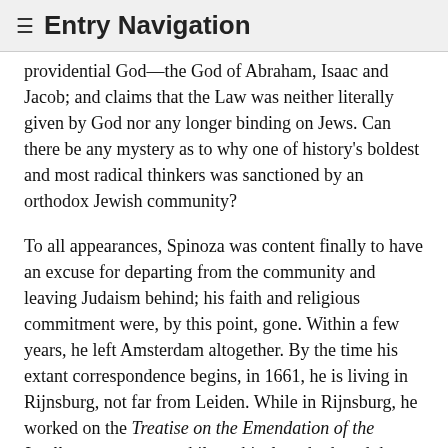≡ Entry Navigation
providential God—the God of Abraham, Isaac and Jacob; and claims that the Law was neither literally given by God nor any longer binding on Jews. Can there be any mystery as to why one of history's boldest and most radical thinkers was sanctioned by an orthodox Jewish community?
To all appearances, Spinoza was content finally to have an excuse for departing from the community and leaving Judaism behind; his faith and religious commitment were, by this point, gone. Within a few years, he left Amsterdam altogether. By the time his extant correspondence begins, in 1661, he is living in Rijnsburg, not far from Leiden. While in Rijnsburg, he worked on the Treatise on the Emendation of the Intellect, an essay on philosophical method, and the Short Treatise on God, Man and His Well-Being, an initial but aborted effort to lay out his metaphysical, epistemological and moral views. His critical exposition of Descartes's Principles of Philosophy, the only work he published under his own